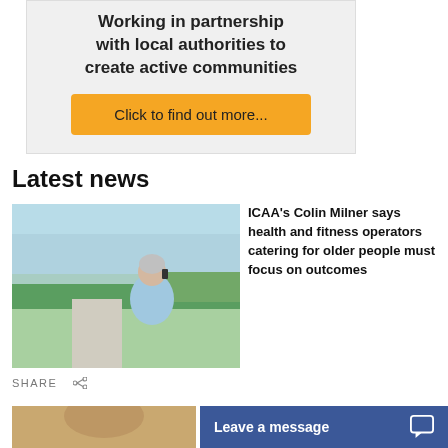[Figure (infographic): Banner with text 'Working in partnership with local authorities to create active communities' and an orange button 'Click to find out more...']
Latest news
[Figure (photo): Older woman in blue t-shirt walking outdoors near water, talking on phone with earphones]
ICAA's Colin Milner says health and fitness operators catering for older people must focus on outcomes
SHARE
[Figure (photo): Partial photo at bottom left, person visible]
Leave a message